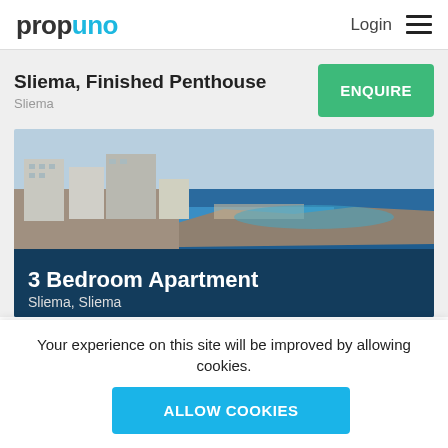propuno | Login
Sliema, Finished Penthouse
Sliema
ENQUIRE
[Figure (photo): Aerial coastal view of Sliema, Malta, showing apartment buildings along the Mediterranean sea coast with blue sky. Overlay text: '3 Bedroom Apartment' and 'Sliema, Sliema']
Your experience on this site will be improved by allowing cookies.
ALLOW COOKIES